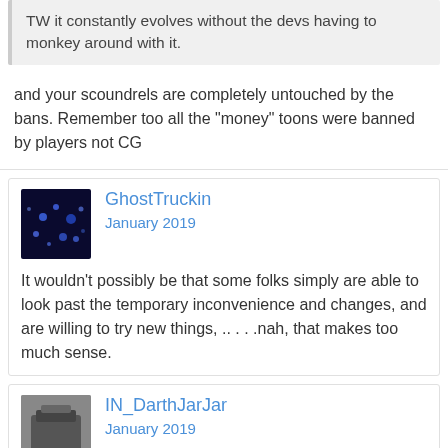TW it constantly evolves without the devs having to monkey around with it.
and your scoundrels are completely untouched by the bans. Remember too all the "money" toons were banned by players not CG
GhostTruckin
January 2019
It wouldn't possibly be that some folks simply are able to look past the temporary inconvenience and changes, and are willing to try new things, .. . . .nah, that makes too much sense.
IN_DarthJarJar
January 2019
CG_SvenGG wrote: »